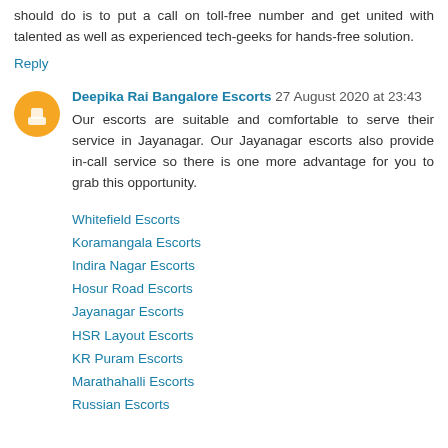should do is to put a call on toll-free number and get united with talented as well as experienced tech-geeks for hands-free solution.
Reply
Deepika Rai Bangalore Escorts  27 August 2020 at 23:43
Our escorts are suitable and comfortable to serve their service in Jayanagar. Our Jayanagar escorts also provide in-call service so there is one more advantage for you to grab this opportunity.
Whitefield Escorts
Koramangala Escorts
Indira Nagar Escorts
Hosur Road Escorts
Jayanagar Escorts
HSR Layout Escorts
KR Puram Escorts
Marathahalli Escorts
Russian Escorts